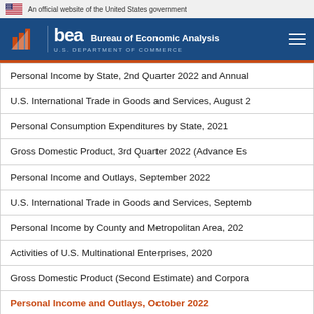An official website of the United States government
Bureau of Economic Analysis | U.S. DEPARTMENT OF COMMERCE
| Release |
| --- |
| Personal Income by State, 2nd Quarter 2022 and Annual |
| U.S. International Trade in Goods and Services, August 2 |
| Personal Consumption Expenditures by State, 2021 |
| Gross Domestic Product, 3rd Quarter 2022 (Advance Es |
| Personal Income and Outlays, September 2022 |
| U.S. International Trade in Goods and Services, Septemb |
| Personal Income by County and Metropolitan Area, 202 |
| Activities of U.S. Multinational Enterprises, 2020 |
| Gross Domestic Product (Second Estimate) and Corpora |
| Personal Income and Outlays, October 2022 |